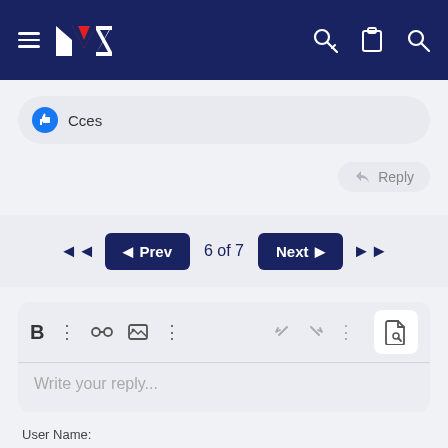[Figure (screenshot): Navigation bar with hamburger menu, MZ logo, key icon, clipboard icon, and search icon on dark blue background]
Cces
Reply
Prev  6 of 7  Next
Write your reply...
User Name: